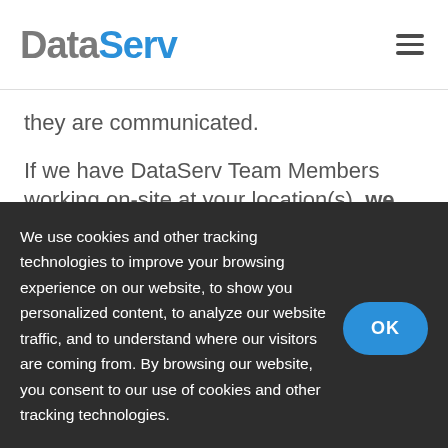DataServ
they are communicated.
If we have DataServ Team Members working on-site at your location(s), we
We use cookies and other tracking technologies to improve your browsing experience on our website, to show you personalized content, to analyze our website traffic, and to understand where our visitors are coming from. By browsing our website, you consent to our use of cookies and other tracking technologies.